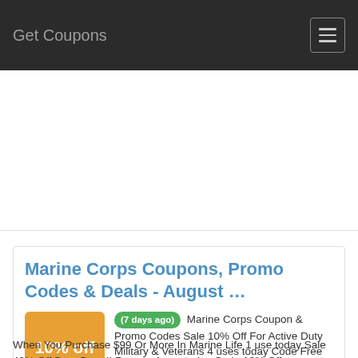Get Coupons
[Figure (other): Advertisement area (blank white space)]
Marine Corps Coupons, Promo Codes & Deals - August …
(7 days ago) Marine Corps Coupon & Promo Codes Sale 10% Off For Active Duty Military & Veterans 4 uses today Code Free Green Chromis X1 + Free Shipping When You Purchase $99 Or More In Marine Life 1 use today Sale 40% Off Bora Bora II Rooney 1 use today Code 10% Off